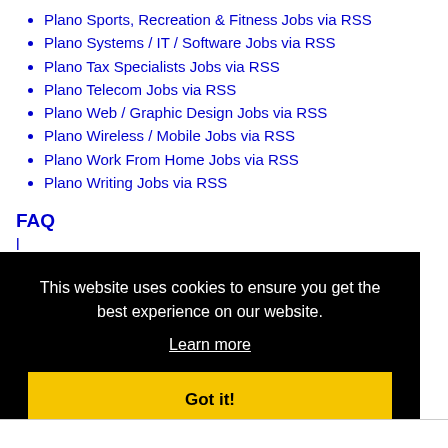Plano Sports, Recreation & Fitness Jobs via RSS
Plano Systems / IT / Software Jobs via RSS
Plano Tax Specialists Jobs via RSS
Plano Telecom Jobs via RSS
Plano Web / Graphic Design Jobs via RSS
Plano Wireless / Mobile Jobs via RSS
Plano Work From Home Jobs via RSS
Plano Writing Jobs via RSS
FAQ
[Figure (screenshot): Cookie consent overlay with black background, text reading 'This website uses cookies to ensure you get the best experience on our website.', a 'Learn more' underlined link, and a yellow 'Got it!' button.]